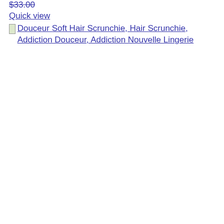$33.00
Quick view
Douceur Soft Hair Scrunchie, Hair Scrunchie, Addiction Douceur, Addiction Nouvelle Lingerie